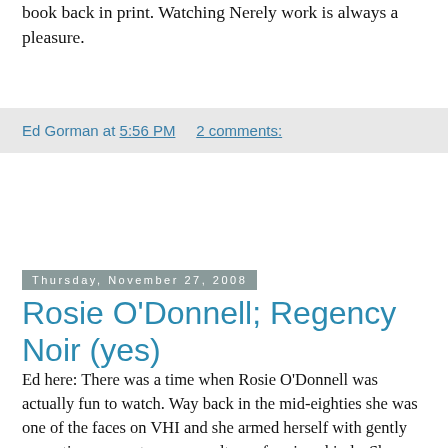book back in print. Watching Nerely work is always a pleasure.
Ed Gorman at 5:56 PM     2 comments:
Thursday, November 27, 2008
Rosie O'Donnell; Regency Noir (yes)
Ed here: There was a time when Rosie O'Donnell was actually fun to watch. Way back in the mid-eighties she was one of the faces on VHI and she armed herself with gently sarcastic comments on pop culture of various kinds. She was a very appealing young woman.
It wasn't difficult to imagine her background. She was the Catholic school girl who endured her years surrounded by people who paid her no attention at all. The prettier ones, the wealthier ones, the more accomplished ones. But it's easy to imagine that she kept her daydream burning bright no matter how dificult her personal life became. And by God she became a major star.